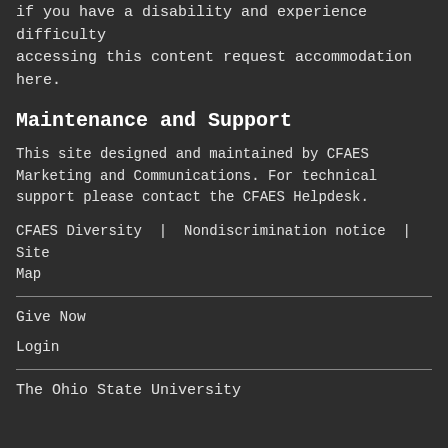if you have a disability and experience difficulty accessing this content request accommodation here.
Maintenance and Support
This site designed and maintained by CFAES Marketing and Communications. For technical support please contact the CFAES Helpdesk.
CFAES Diversity | Nondiscrimination notice | Site Map
Give Now
Login
The Ohio State University